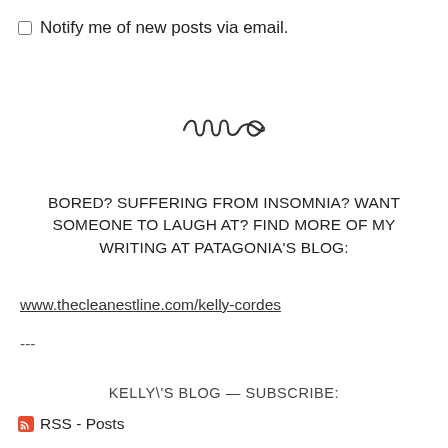Notify me of new posts via email.
[Figure (illustration): Decorative swirl/flourish divider element]
BORED? SUFFERING FROM INSOMNIA? WANT SOMEONE TO LAUGH AT? FIND MORE OF MY WRITING AT PATAGONIA'S BLOG:
www.thecleanestline.com/kelly-cordes
---
KELLY\'S BLOG — SUBSCRIBE:
RSS - Posts